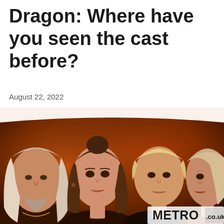Dragon: Where have you seen the cast before?
August 22, 2022
[Figure (photo): Promotional image showing four actors from House of the Dragon TV series — a middle-aged man with long white hair on the left, a young woman with brown hair in the center-left, a younger man with slicked-back blond hair center-right, and a woman with light hair on the far right — all set against a fiery orange background. Metro.co.uk logo in bottom right corner.]